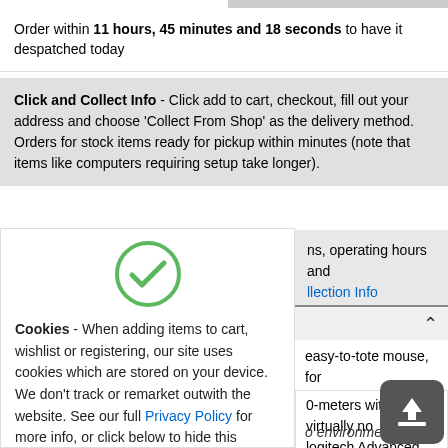Order within 11 hours, 45 minutes and 18 seconds to have it despatched today
Click and Collect Info - Click add to cart, checkout, fill out your address and choose 'Collect From Shop' as the delivery method. Orders for stock items ready for pickup within minutes (note that items like computers requiring setup take longer).
ns, operating hours and llection Info
easy-to-tote mouse, for go.
0-meters with virtually no logitech Advanced 2.4 wireless
o environmental and
[Figure (illustration): Green circle with checkmark icon]
Cookies - When adding items to cart, wishlist or registering, our site uses cookies which are stored on your device. We don't track or remarket outwith the website. See our full Privacy Policy for more info, or click below to hide this notice.
That's fine. Hide this message.